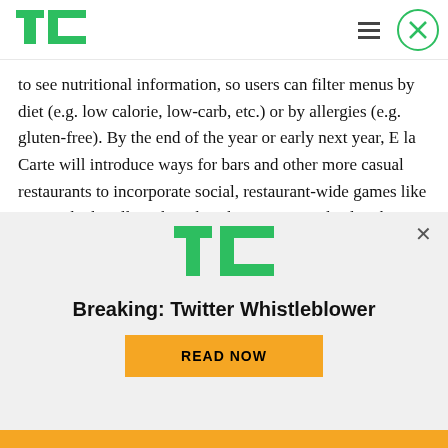TechCrunch logo, hamburger menu, close button
to see nutritional information, so users can filter menus by diet (e.g. low calorie, low-carb, etc.) or by allergies (e.g. gluten-free). By the end of the year or early next year, E la Carte will introduce ways for bars and other more casual restaurants to incorporate social, restaurant-wide games like trivia which will work with in-house TVs to display the questions and leaderboards.
[Figure (logo): TechCrunch TC logo in green, advertisement banner]
Breaking: Twitter Whistleblower
READ NOW